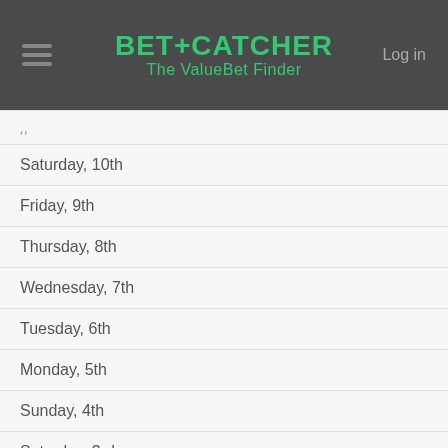BET+CATCHER The ValueBet Finder | Log in
Saturday, 10th
Friday, 9th
Thursday, 8th
Wednesday, 7th
Tuesday, 6th
Monday, 5th
Sunday, 4th
Saturday, 3rd
Friday, 2nd
Thursday, 1st
2018 October
Wednesday, 31st